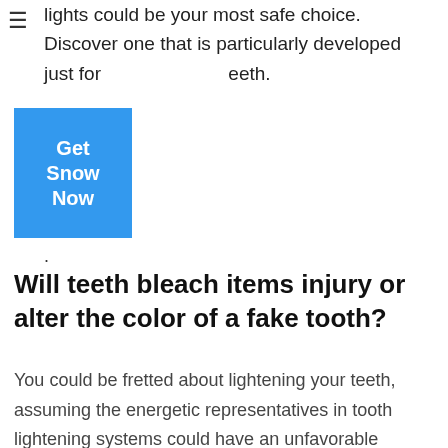whitening toothpaste rather than strips or lights could be your most safe choice. Discover one that is particularly developed just for teeth.
[Figure (other): Blue button with white bold text reading 'Get Snow Now']
.
Will teeth bleach items injury or alter the color of a fake tooth?
You could be fretted about lightening your teeth, assuming the energetic representatives in tooth lightening systems could have an unfavorable impact on fake teeth, but they will certainly have little to no effect. Equally as they will certainly not harm a phony tooth though, they